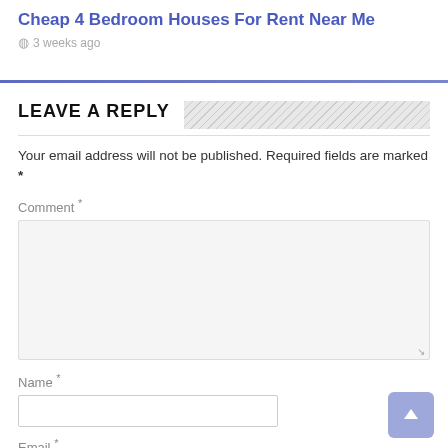Cheap 4 Bedroom Houses For Rent Near Me
3 weeks ago
LEAVE A REPLY
Your email address will not be published. Required fields are marked *
Comment *
Name *
Email *